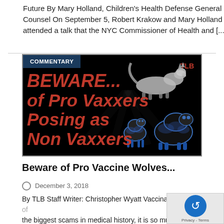Future By Mary Holland, Children’s Health Defense General Counsel On September 5, Robert Krakow and Mary Holland attended a talk that the NYC Commissioner of Health and [...]
[Figure (illustration): Dark banner image with red bold text reading 'BEWARE... of Pro Vaxxers Posing as Non Vaxxers', a wolf illustration in gray/white on top, two cartoon sheep in blue on the bottom right, light rays in gray background, TLB label in red top right, and a blue 'COMMENTARY' badge in top left.]
Beware of Pro Vaccine Wolves...
December 3, 2018
By TLB Staff Writer: Christopher Wyatt Vaccination is one of the biggest scams in medical history, it is so much of a scam that instead of people knocking down the doors begging vaccines the establishment [...]